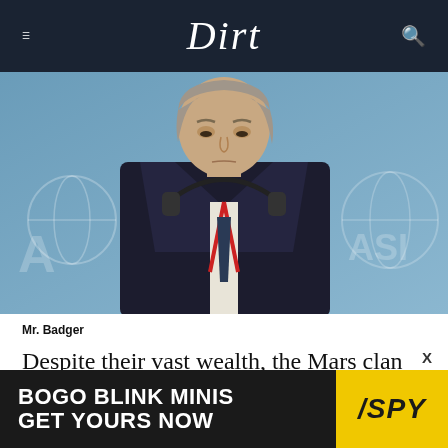Dirt
[Figure (photo): Man in a dark suit with headphones around his neck and a red lanyard, looking downward, against a blue background with a globe logo partially visible. Photo caption: Mr. Badger.]
Mr. Badger
Despite their vast wealth, the Mars clan remains
[Figure (other): Advertisement banner: BOGO BLINK MINIS GET YOURS NOW with SPY logo on yellow background]